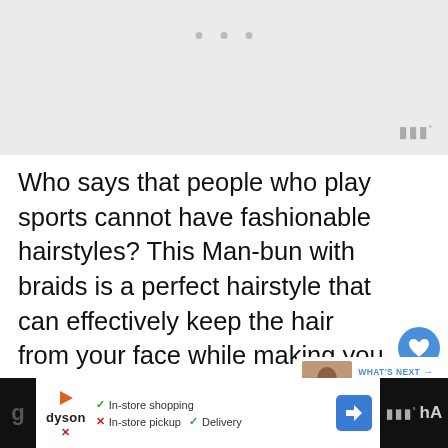[Figure (photo): Top portion showing a light gray image area with navigation dots and a watermark logo in the bottom-right corner]
Who says that people who play sports cannot have fashionable hairstyles? This Man-bun with braids is a perfect hairstyle that can effectively keep the hair from your face while making you look amazing. Create smaller braids that will last for a long time during your training.
[Figure (infographic): WHAT'S NEXT arrow label with thumbnail and text '45 Stylish Pixie Cuts fo...']
[Figure (infographic): Bottom advertisement bar: Dyson brand with In-store shopping checkmark, In-store pickup X, Delivery checkmark, navigation arrow icon, and partial watermark logo on dark background]